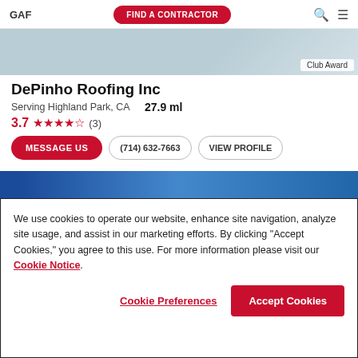GAF | FIND A CONTRACTOR
[Figure (photo): Contractor image with Club Award badge]
DePinho Roofing Inc
Serving Highland Park, CA   27.9 ml
3.7 ★★★½☆ (3)
MESSAGE US | (714) 632-7663 | VIEW PROFILE
[Figure (photo): Second contractor image (blue tones)]
We use cookies to operate our website, enhance site navigation, analyze site usage, and assist in our marketing efforts. By clicking "Accept Cookies," you agree to this use. For more information please visit our Cookie Notice.
Cookie Preferences | Accept Cookies